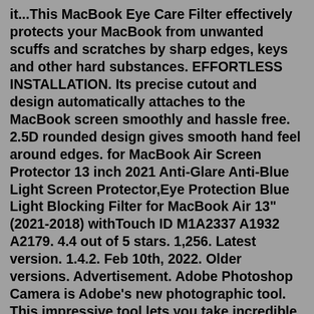it...This MacBook Eye Care Filter effectively protects your MacBook from unwanted scuffs and scratches by sharp edges, keys and other hard substances. EFFORTLESS INSTALLATION. Its precise cutout and design automatically attaches to the MacBook screen smoothly and hassle free. 2.5D rounded design gives smooth hand feel around edges. for MacBook Air Screen Protector 13 inch 2021 Anti-Glare Anti-Blue Light Screen Protector,Eye Protection Blue Light Blocking Filter for MacBook Air 13" (2021-2018) withTouch ID M1A2337 A1932 A2179. 4.4 out of 5 stars. 1,256. Latest version. 1.4.2. Feb 10th, 2022. Older versions. Advertisement. Adobe Photoshop Camera is Adobe's new photographic tool. This impressive tool lets you take incredible pictures using your Android device. With a bunch of filters, many of them designed by the community itself, it's super easy to achieve amazing results with minimum effort.Is a photo, video editing app Snap Camera download PC that has been designed for all iPhone, iPad users. Has